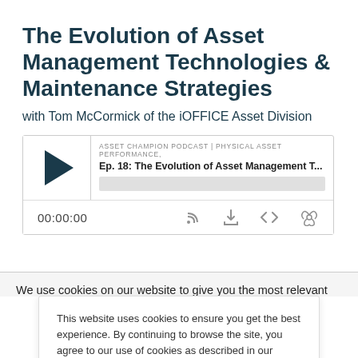The Evolution of Asset Management Technologies & Maintenance Strategies
with Tom McCormick of the iOFFICE Asset Division
[Figure (screenshot): Embedded podcast player widget showing 'ASSET CHAMPION PODCAST | PHYSICAL ASSET PERFORMANCE,' label, episode title 'Ep. 18: The Evolution of Asset Management T...', a progress bar, timestamp '00:00:00', and media control icons including RSS feed, download, embed code, and share.]
We use cookies on our website to give you the most relevant
This website uses cookies to ensure you get the best experience. By continuing to browse the site, you agree to our use of cookies as described in our Privacy Policy.